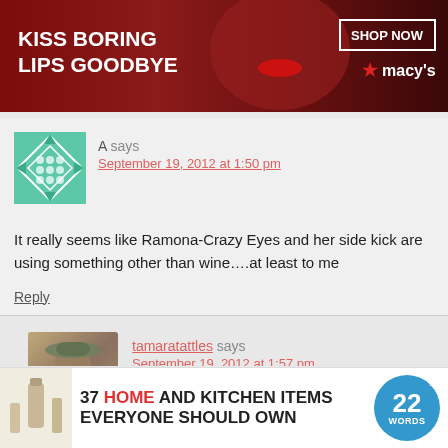[Figure (screenshot): Macy's advertisement banner: 'KISS BORING LIPS GOODBYE' with SHOP NOW button and Macy's star logo, featuring a woman with red lips]
A says
September 19, 2012 at 1:50 pm
It really seems like Ramona-Crazy Eyes and her side kick are using something other than wine….at least to me
Reply
tamaratattles says
September 19, 2012 at 1:57 pm
[Figure (screenshot): Bottom advertisement: '37 HOME AND KITCHEN ITEMS EVERYONE SHOULD OWN' with 22 Words badge logo]